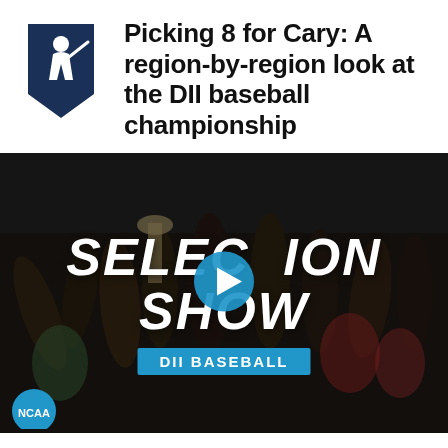[Figure (logo): NCAA DII baseball logo - navy blue pennant with baseball player silhouette]
Picking 8 for Cary: A region-by-region look at the DII baseball championship
[Figure (screenshot): Video thumbnail showing baseball team celebrating with trophy, overlaid with 'SELECTION SHOW' text and play button, 'DII BASEBALL' badge, NCAA logo in bottom left corner]